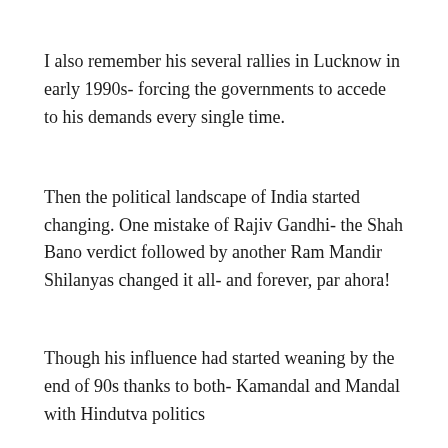I also remember his several rallies in Lucknow in early 1990s- forcing the governments to accede to his demands every single time.
Then the political landscape of India started changing. One mistake of Rajiv Gandhi- the Shah Bano verdict followed by another Ram Mandir Shilanyas changed it all- and forever, par ahora!
Though his influence had started weaning by the end of 90s thanks to both- Kamandal and Mandal with Hindutva politics